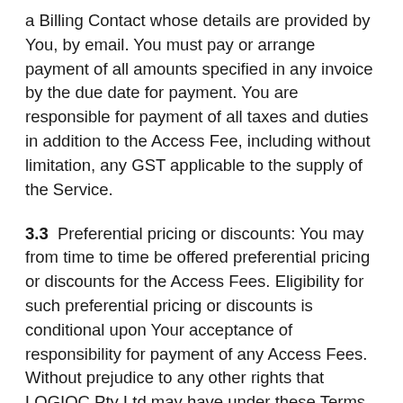a Billing Contact whose details are provided by You, by email. You must pay or arrange payment of all amounts specified in any invoice by the due date for payment. You are responsible for payment of all taxes and duties in addition to the Access Fee, including without limitation, any GST applicable to the supply of the Service.
3.3  Preferential pricing or discounts: You may from time to time be offered preferential pricing or discounts for the Access Fees. Eligibility for such preferential pricing or discounts is conditional upon Your acceptance of responsibility for payment of any Access Fees. Without prejudice to any other rights that LOGIQC Pty Ltd may have under these Terms or at law, LOGIQC Pty Ltd reserves the right to render invoices for the full (non-discounted) Access Fees due or suspend or terminate Your use of the Service in respect of any or all of Your users in the event that any invoices